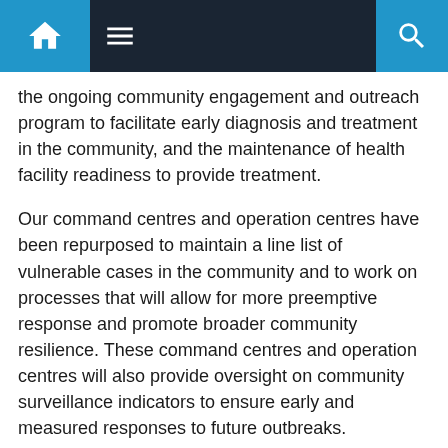Navigation bar with home, menu, and search icons
the ongoing community engagement and outreach program to facilitate early diagnosis and treatment in the community, and the maintenance of health facility readiness to provide treatment.
Our command centres and operation centres have been repurposed to maintain a line list of vulnerable cases in the community and to work on processes that will allow for more preemptive response and promote broader community resilience. These command centres and operation centres will also provide oversight on community surveillance indicators to ensure early and measured responses to future outbreaks.
We are also focused on carrying out general health service work more efficiently in all facilities, and a key part of our plan is to set up divisional mobile units to supplement